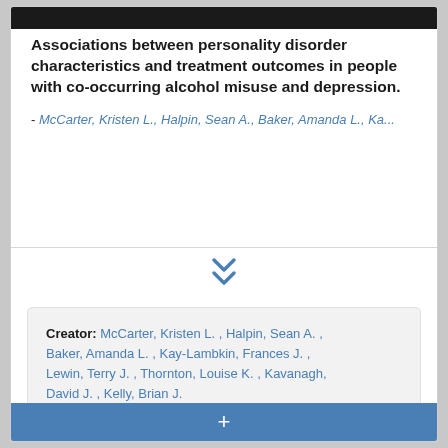Associations between personality disorder characteristics and treatment outcomes in people with co-occurring alcohol misuse and depression.
- McCarter, Kristen L., Halpin, Sean A., Baker, Amanda L., Ka...
[Figure (other): Double chevron down arrow icon in blue]
Creator: McCarter, Kristen L. , Halpin, Sean A. , Baker, Amanda L. , Kay-Lambkin, Frances J. , Lewin, Terry J. , Thornton, Louise K. , Kavanagh, David J. , Kelly, Brian J.
Resource Type: journal article
Date: 2016